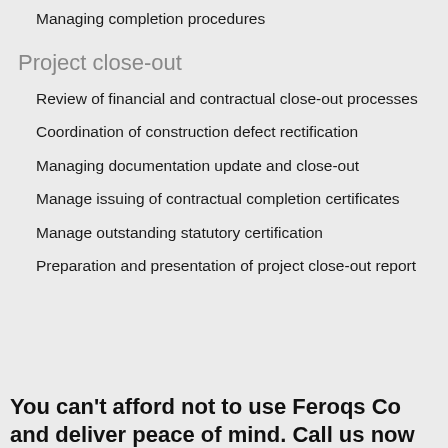Managing completion procedures
Project close-out
Review of financial and contractual close-out processes
Coordination of construction defect rectification
Managing documentation update and close-out
Manage issuing of contractual completion certificates
Manage outstanding statutory certification
Preparation and presentation of project close-out report
You can't afford not to use Feroqs Co... and deliver peace of mind. Call us now